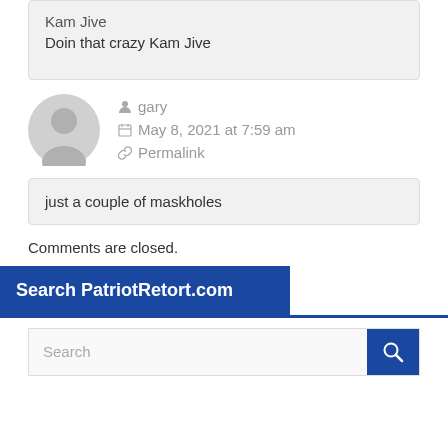Kam Jive
Doin that crazy Kam Jive
gary
May 8, 2021 at 7:59 am
Permalink
just a couple of maskholes
Comments are closed.
Search PatriotRetort.com
Search